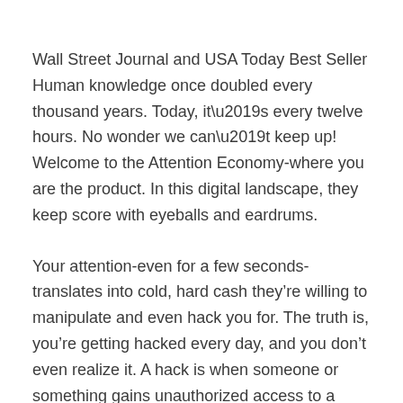Wall Street Journal and USA Today Best Seller Human knowledge once doubled every thousand years. Today, it’s every twelve hours. No wonder we can’t keep up! Welcome to the Attention Economy-where you are the product. In this digital landscape, they keep score with eyeballs and eardrums.
Your attention-even for a few seconds-translates into cold, hard cash they’re willing to manipulate and even hack you for. The truth is, you’re getting hacked every day, and you don’t even realize it. A hack is when someone or something gains unauthorized access to a computer or a system.
Want to know something scary? People can be hacked. It happens millions of times a day. Your focus is the prize-